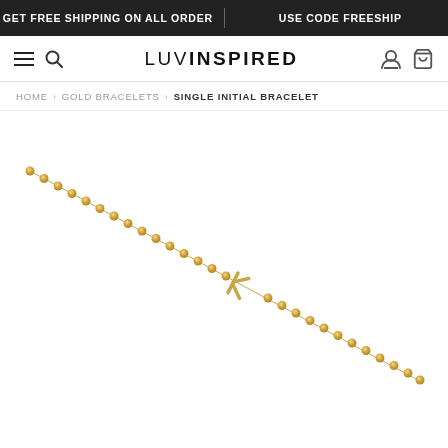GET FREE SHIPPING ON ALL ORDER | USE CODE FREESHIP
LUVINSPIRED
HOME > GOLD BRACELETS > SINGLE INITIAL BRACELET
[Figure (photo): Close-up product photo of a gold ball chain bracelet with a small initial letter charm, laid diagonally on a white background.]